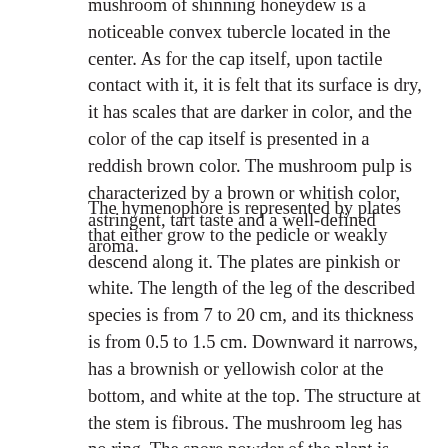mushroom of shinning honeydew is a noticeable convex tubercle located in the center. As for the cap itself, upon tactile contact with it, it is felt that its surface is dry, it has scales that are darker in color, and the color of the cap itself is presented in a reddish brown color. The mushroom pulp is characterized by a brown or whitish color, astringent, tart taste and a well-defined aroma.
The hymenophore is represented by plates that either grow to the pedicle or weakly descend along it. The plates are pinkish or white. The length of the leg of the described species is from 7 to 20 cm, and its thickness is from 0.5 to 1.5 cm. Downward it narrows, has a brownish or yellowish color at the bottom, and white at the top. The structure at the stem is fibrous. The mushroom leg has no ring. The spore powder of the plant is characterized by a creamy color and consists of particles with a size of 6.5-8 * 4.5-5.5 microns. The spores are ellipsoidal and have a smooth surface. Not amyloid.